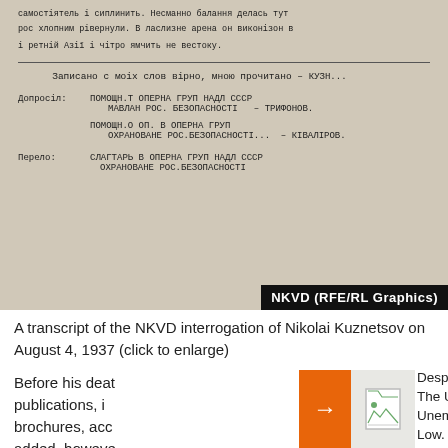[Figure (photo): Scanned NKVD document in Russian/Cyrillic typewriter text, showing interrogation transcript with multiple sections of typed Cyrillic text, horizontal rule, labeled sections (Допросил, Перевел), and an NKVD (RFE/RL Graphics) watermark badge in bottom right corner.]
A transcript of the NKVD interrogation of Nikolai Kuznetsov on August 4, 1937 (click to enlarge)
Before his death publications, in brochures, acc added, however works remained
[Figure (screenshot): Orange navigation arrow button with right-pointing arrow symbol, next to a broken image placeholder icon on grey background, part of a web page sidebar navigation element.]
Despite Sweeping Sanctions Over The Ukraine War, Russian Unemployment Touches Post-Soviet Low. Here's Why.